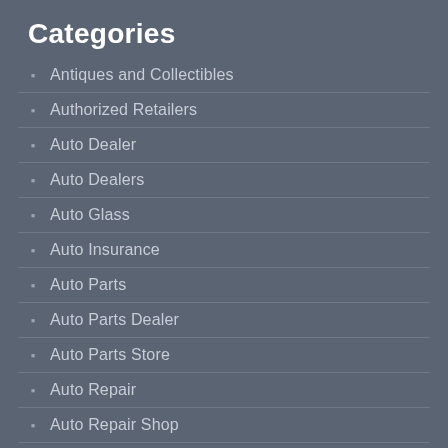Categories
Antiques and Collectibles
Authorized Retailers
Auto Dealer
Auto Dealers
Auto Glass
Auto Insurance
Auto Parts
Auto Parts Dealer
Auto Parts Store
Auto Repair
Auto Repair Shop
Auto Service Center
Auto-Products